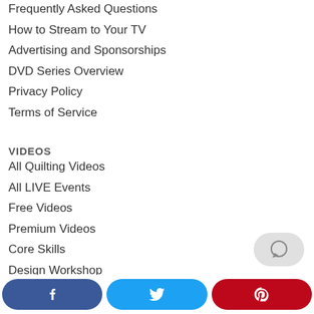Frequently Asked Questions
How to Stream to Your TV
Advertising and Sponsorships
DVD Series Overview
Privacy Policy
Terms of Service
VIDEOS
All Quilting Videos
All LIVE Events
Free Videos
Premium Videos
Core Skills
Design Workshop
Finishing Touches
Projects